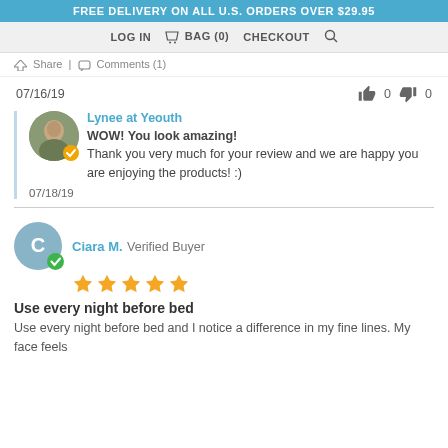FREE DELIVERY ON ALL U.S. ORDERS OVER $29.95
LOG IN  BAG (0)  CHECKOUT
Share | Comments (1)
07/16/19   👍 0  👎 0
Lynee at Yeouth
WOW! You look amazing! Thank you very much for your review and we are happy you are enjoying the products! :)
07/18/19
Ciara M.  Verified Buyer
★★★★★
Use every night before bed
Use every night before bed and I notice a difference in my fine lines. My face feels